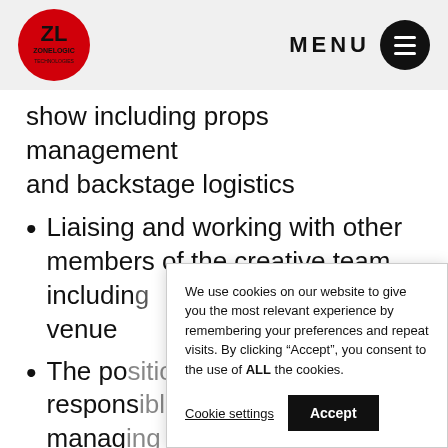ZoneLogic (logo) | MENU
show including props management and backstage logistics
Liaising and working with other members of the creative team including lighting and sound venue
The position is responsible for managing
We use cookies on our website to give you the most relevant experience by remembering your preferences and repeat visits. By clicking "Accept", you consent to the use of ALL the cookies.